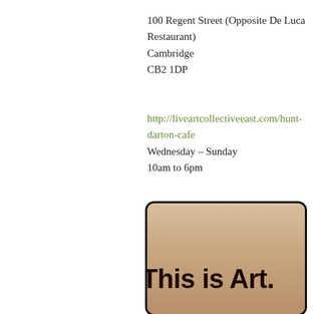100 Regent Street (Opposite De Luca Restaurant)
Cambridge
CB2 1DP
http://liveartcollectiveeast.com/hunt-darton-cafe
Wednesday – Sunday
10am to 6pm
[Figure (photo): A sepia/vintage-toned photo showing bold text 'This is Art.' printed on a light beige/pinkish background with a dark rounded border.]